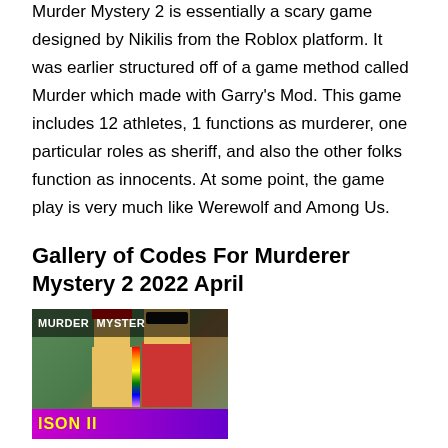Murder Mystery 2 is essentially a scary game designed by Nikilis from the Roblox platform. It was earlier structured off of a game method called Murder which made with Garry's Mod. This game includes 12 athletes, 1 functions as murderer, one particular roles as sheriff, and also the other folks function as innocents. At some point, the game play is very much like Werewolf and Among Us.
Gallery of Codes For Murderer Mystery 2 2022 April
[Figure (photo): Screenshot or game image for Murder Mystery 2 showing blocky Roblox characters. The image has a dark header bar with text 'MURDER MYSTER' and a purple/magenta bottom bar with text 'ISON II' in yellow.]